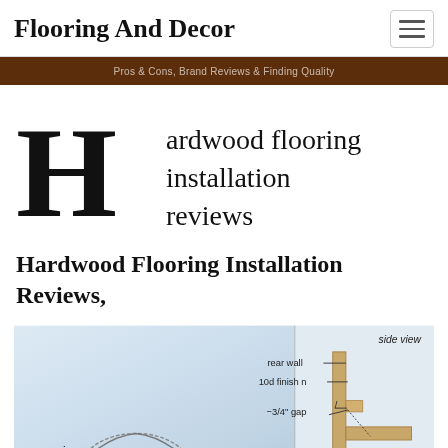Flooring And Decor
Pros & Cons, Brand Reviews & Finding Quality
Hardwood flooring installation reviews
Hardwood Flooring Installation Reviews,
[Figure (engineering-diagram): Hardwood flooring installation diagram showing rear view and side view with annotations: side view, rear wall, 10d finish nail, 3/4" gap]